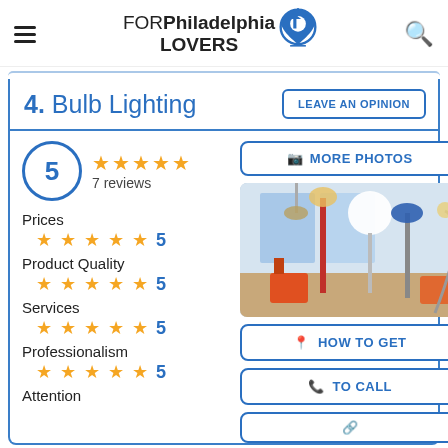FOR Philadelphia LOVERS
4. Bulb Lighting
LEAVE AN OPINION
5
7 reviews
★★★★★
MORE PHOTOS
[Figure (photo): Interior of Bulb Lighting store showing various floor lamps and pendant lights]
Prices ★★★★★ 5
Product Quality ★★★★★ 5
Services ★★★★★ 5
Professionalism ★★★★★ 5
HOW TO GET
TO CALL
Attention